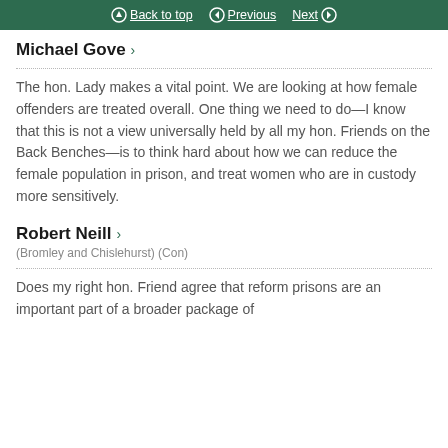Back to top | Previous | Next
Michael Gove >
The hon. Lady makes a vital point. We are looking at how female offenders are treated overall. One thing we need to do—I know that this is not a view universally held by all my hon. Friends on the Back Benches—is to think hard about how we can reduce the female population in prison, and treat women who are in custody more sensitively.
Robert Neill >
(Bromley and Chislehurst) (Con)
Does my right hon. Friend agree that reform prisons are an important part of a broader package of